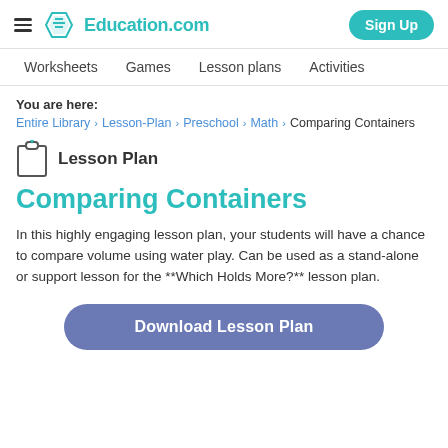Education.com — Sign Up
Worksheets   Games   Lesson plans   Activities
You are here:
Entire Library > Lesson-Plan > Preschool > Math > Comparing Containers
[Figure (illustration): Clipboard icon representing a lesson plan]
Lesson Plan
Comparing Containers
In this highly engaging lesson plan, your students will have a chance to compare volume using water play. Can be used as a stand-alone or support lesson for the **Which Holds More?** lesson plan.
Download Lesson Plan